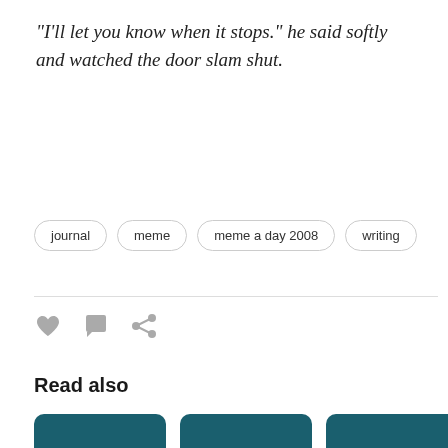“I’ll let you know when it stops.” he said softly and watched the door slam shut.
journal
meme
meme a day 2008
writing
[Figure (infographic): Row of social interaction icons: heart (like), speech bubble (comment), share arrow]
Read also
[Figure (photo): Four dark teal image cards partially visible at the bottom of the page]